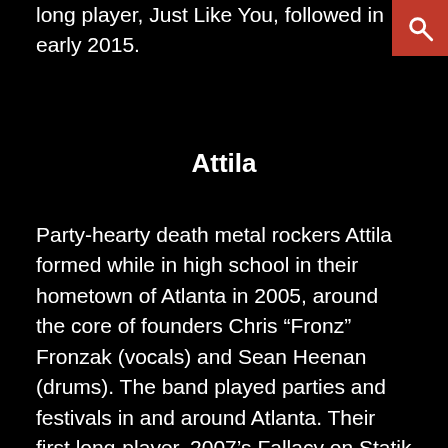long player, Just Like You, followed in early 2015.
Attila
Party-hearty death metal rockers Attila formed while in high school in their hometown of Atlanta in 2005, around the core of founders Chris “Fronz” Fronzak (vocals) and Sean Heenan (drums). The band played parties and festivals in and around Atlanta. Their first long-player, 2007’s Fallacy on Statik Factory Records, has been an underground favorite since its